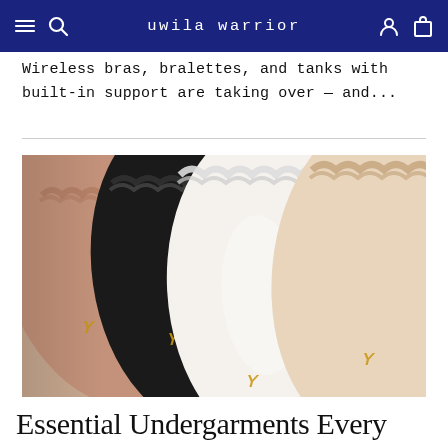uwila warrior
Wireless bras, bralettes, and tanks with built-in support are taking over — and...
[Figure (photo): Flat lay photo of multiple silk/satin lingerie pieces with lace trim in mauve/dusty rose, black, white, and cream/beige colors, each with a small gold logo detail]
Essential Undergarments Every